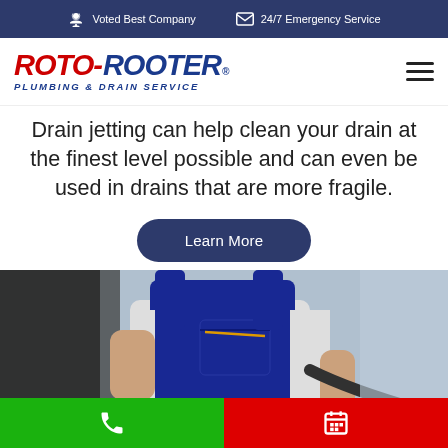Voted Best Company | 24/7 Emergency Service
[Figure (logo): Roto-Rooter Plumbing & Drain Service logo]
Drain jetting can help clean your drain at the finest level possible and can even be used in drains that are more fragile.
Learn More
[Figure (photo): Plumber in blue overalls holding a drain hose/cable]
Call button | Schedule button